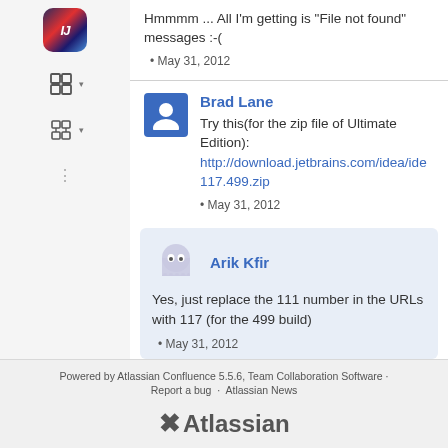Hmmmm ... All I'm getting is 'File not found' messages :-(
May 31, 2012
Brad Lane
Try this(for the zip file of Ultimate Edition): http://download.jetbrains.com/idea/ide 117.499.zip
May 31, 2012
Arik Kfir
Yes, just replace the 111 number in the URLs with 117 (for the 499 build)
May 31, 2012
Powered by Atlassian Confluence 5.5.6, Team Collaboration Software · Report a bug · Atlassian News